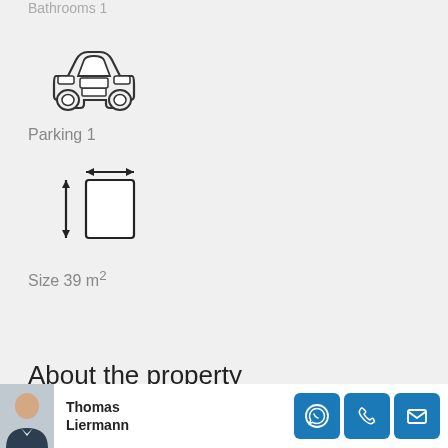Bathrooms 1
[Figure (illustration): Car icon viewed from front, outline style]
Parking 1
[Figure (illustration): Size/dimensions icon with double-headed arrows indicating width and height of a rectangle]
Size 39 m²
About the property
Thomas Liermann — contact buttons: WhatsApp, Phone, Email